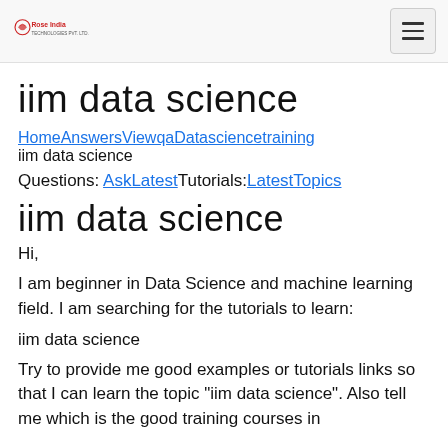Rose India Technologies Ltd. [logo] [hamburger menu]
iim data science
HomeAnswersViewqaDatasciencetraining iim data science
Questions: AskLatestTutorials:LatestTopics
iim data science
Hi,
I am beginner in Data Science and machine learning field. I am searching for the tutorials to learn:
iim data science
Try to provide me good examples or tutorials links so that I can learn the topic "iim data science". Also tell me which is the good training courses in